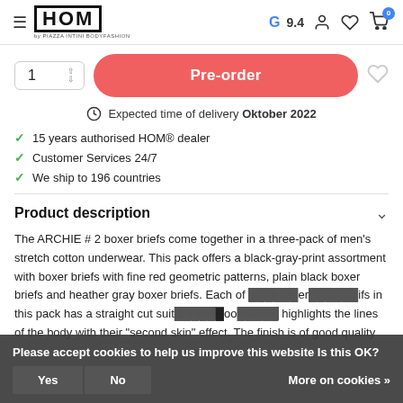HOM by PIAZZA INTINI BODYFASHION | Google 9.4
1 | Pre-order
Expected time of delivery Oktober 2022
15 years authorised HOM® dealer
Customer Services 24/7
We ship to 196 countries
Product description
The ARCHIE # 2 boxer briefs come together in a three-pack of men's stretch cotton underwear. This pack offers a black-gray-print assortment with boxer briefs with fine red geometric patterns, plain black boxer briefs and heather gray boxer briefs. Each of the boxer briefs in this pack has a straight cut suit the body highlights the lines of the body with their "second skin" effect. The finish is of good quality
Please accept cookies to help us improve this website Is this OK? Yes | No | More on cookies »